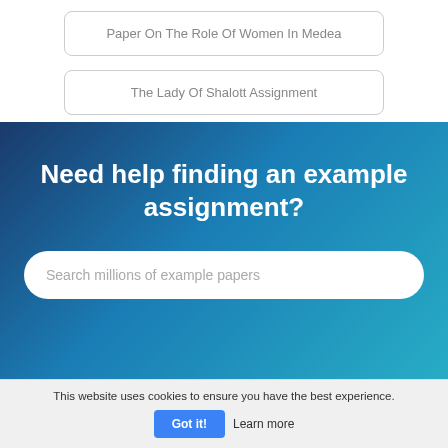Paper On The Role Of Women In Medea
The Lady Of Shalott Assignment
Need help finding an example assignment?
Search millions of example papers
This website uses cookies to ensure you have the best experience.
Got it!
Learn more